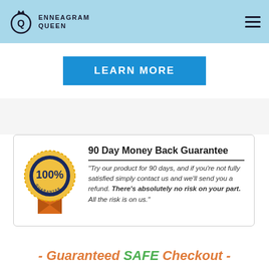ENNEAGRAM QUEEN
LEARN MORE
[Figure (infographic): 90 Day Money Back Guarantee badge with 100% satisfaction seal and orange ribbon]
90 Day Money Back Guarantee — "Try our product for 90 days, and if you're not fully satisfied simply contact us and we'll send you a refund. There's absolutely no risk on your part. All the risk is on us."
- Guaranteed SAFE Checkout -